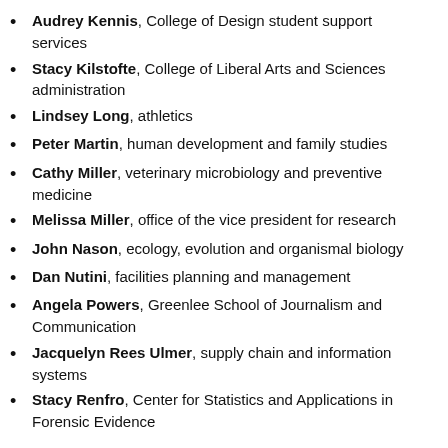Audrey Kennis, College of Design student support services
Stacy Kilstofte, College of Liberal Arts and Sciences administration
Lindsey Long, athletics
Peter Martin, human development and family studies
Cathy Miller, veterinary microbiology and preventive medicine
Melissa Miller, office of the vice president for research
John Nason, ecology, evolution and organismal biology
Dan Nutini, facilities planning and management
Angela Powers, Greenlee School of Journalism and Communication
Jacquelyn Rees Ulmer, supply chain and information systems
Stacy Renfro, Center for Statistics and Applications in Forensic Evidence